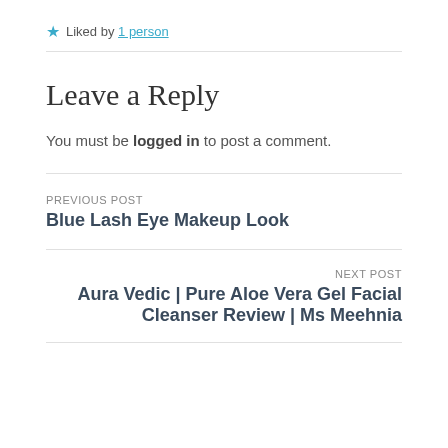★ Liked by 1 person
Leave a Reply
You must be logged in to post a comment.
PREVIOUS POST
Blue Lash Eye Makeup Look
NEXT POST
Aura Vedic | Pure Aloe Vera Gel Facial Cleanser Review | Ms Meehnia